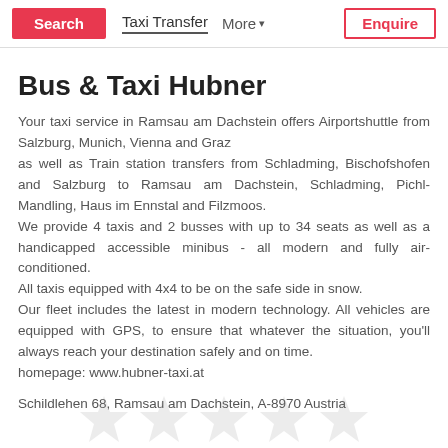Search | Taxi Transfer | More | Enquire
Bus & Taxi Hubner
Your taxi service in Ramsau am Dachstein offers Airportshuttle from Salzburg, Munich, Vienna and Graz as well as Train station transfers from Schladming, Bischofshofen and Salzburg to Ramsau am Dachstein, Schladming, Pichl-Mandling, Haus im Ennstal and Filzmoos. We provide 4 taxis and 2 busses with up to 34 seats as well as a handicapped accessible minibus - all modern and fully air-conditioned. All taxis equipped with 4x4 to be on the safe side in snow. Our fleet includes the latest in modern technology. All vehicles are equipped with GPS, to ensure that whatever the situation, you'll always reach your destination safely and on time. homepage: www.hubner-taxi.at
Schildlehen 68, Ramsau am Dachstein, A-8970 Austria
[Figure (illustration): Five faint grey star icons displayed in a row at the bottom of the page]